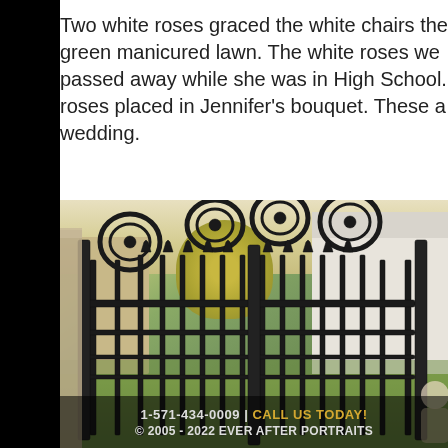Two white roses graced the white chairs that lined the green manicured lawn. The white roses we... passed away while she was in High School. ...roses placed in Jennifer's bouquet. These a... wedding.
[Figure (photo): Ornate black wrought-iron gate in foreground with decorative scrollwork, white colonial building visible in background right, yellow autumn tree center-background, green lawn. A person partially visible at far right edge. Overlay at bottom shows phone number and copyright.]